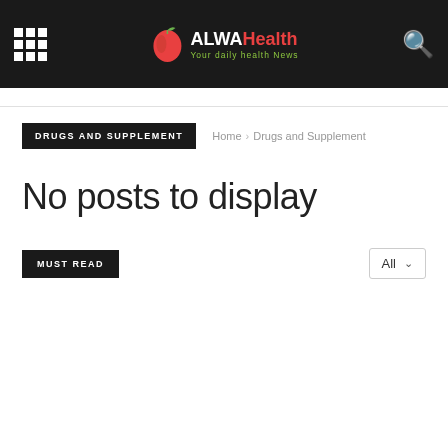ALWA Health — Your daily health News
DRUGS AND SUPPLEMENT
Home › Drugs and Supplement
No posts to display
MUST READ
All